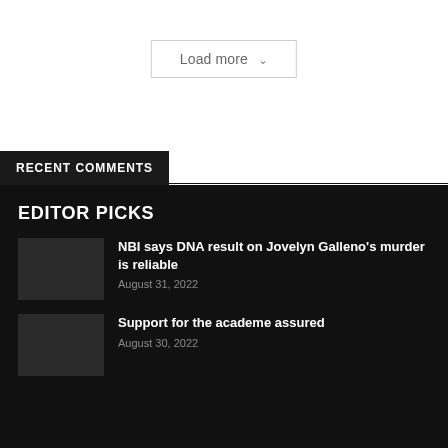Load more
RECENT COMMENTS
EDITOR PICKS
NBI says DNA result on Jovelyn Galleno's murder is reliable
August 31, 2022
Support for the academe assured
August 30, 2022